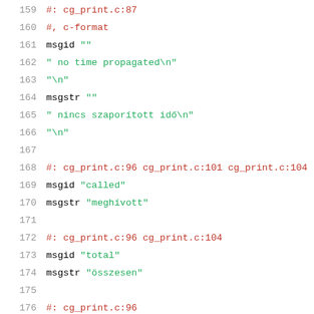159  #: cg_print.c:87
160  #, c-format
161  msgid ""
162  " no time propagated\n"
163  "\n"
164  msgstr ""
165  " nincs szaporított idő\n"
166  "\n"
167  
168  #: cg_print.c:96 cg_print.c:101 cg_print.c:104
169  msgid "called"
170  msgstr "meghívott"
171  
172  #: cg_print.c:96 cg_print.c:104
173  msgid "total"
174  msgstr "összesen"
175  
176  #: cg_print.c:96
177  msgid "parents"
178  msgstr "szülők"
179  
180  #: cg_print.c:98 cg_print.c:102